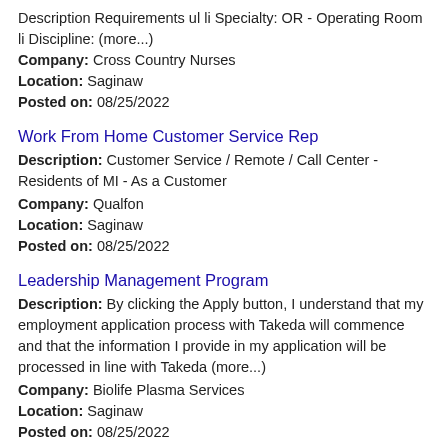Description Requirements ul li Specialty: OR - Operating Room li Discipline: (more...)
Company: Cross Country Nurses
Location: Saginaw
Posted on: 08/25/2022
Work From Home Customer Service Rep
Description: Customer Service / Remote / Call Center - Residents of MI - As a Customer
Company: Qualfon
Location: Saginaw
Posted on: 08/25/2022
Leadership Management Program
Description: By clicking the Apply button, I understand that my employment application process with Takeda will commence and that the information I provide in my application will be processed in line with Takeda (more...)
Company: Biolife Plasma Services
Location: Saginaw
Posted on: 08/25/2022
Remote Software Automation Tester
Description: A management consulting and IT support firm has a